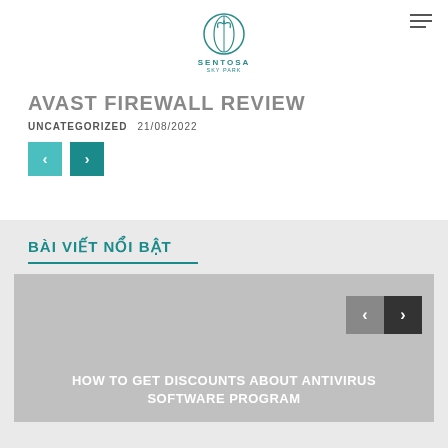SENTOSA SKY PARK (logo)
AVAST FIREWALL REVIEW
UNCATEGORIZED  21/08/2022
[Figure (screenshot): Navigation previous and next buttons (teal colored)]
BÀI VIẾT NỔI BẬT
[Figure (screenshot): Slider card with gray background and navigation buttons showing card title: HOW TO GET DISCOUNTS ABOUT ANTIVIRUS SOFTWARE PROGRAM]